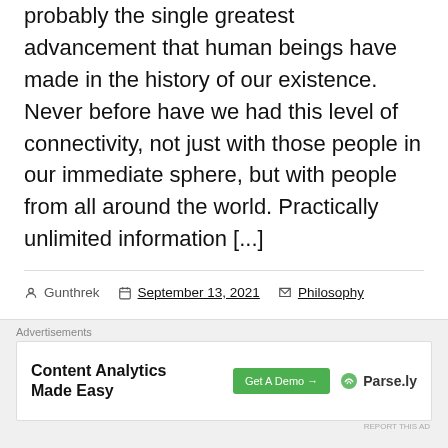probably the single greatest advancement that human beings have made in the history of our existence. Never before have we had this level of connectivity, not just with those people in our immediate sphere, but with people from all around the world. Practically unlimited information [...]
Gunthrek  September 13, 2021  Philosophy
Blog, content, creator, Internet, Philosophy, Publish, writing
[Figure (screenshot): Advertisement banner for Parse.ly Content Analytics Made Easy with a green Get A Demo button]
Advertisements
REPORT THIS AD